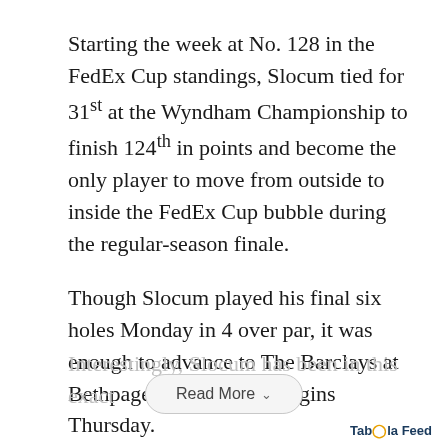Starting the week at No. 128 in the FedEx Cup standings, Slocum tied for 31st at the Wyndham Championship to finish 124th in points and become the only player to move from outside to inside the FedEx Cup bubble during the regular-season finale.
Though Slocum played his final six holes Monday in 4 over par, it was enough to advance to The Barclays at Bethpage Black, which begins Thursday.
Interestingly, Slocum has been in this exact
Read More
Taboola Feed